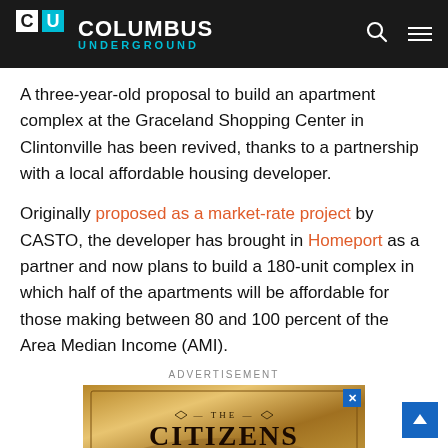Columbus Underground
A three-year-old proposal to build an apartment complex at the Graceland Shopping Center in Clintonville has been revived, thanks to a partnership with a local affordable housing developer.
Originally proposed as a market-rate project by CASTO, the developer has brought in Homeport as a partner and now plans to build a 180-unit complex in which half of the apartments will be affordable for those making between 80 and 100 percent of the Area Median Income (AMI).
ADVERTISEMENT
[Figure (other): Advertisement for 'The Citizens' with ornate golden background]